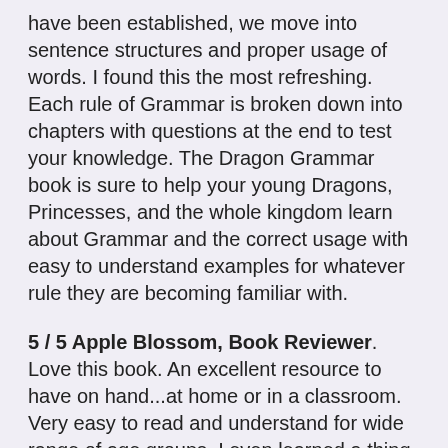have been established, we move into sentence structures and proper usage of words. I found this the most refreshing. Each rule of Grammar is broken down into chapters with questions at the end to test your knowledge. The Dragon Grammar book is sure to help your young Dragons, Princesses, and the whole kingdom learn about Grammar and the correct usage with easy to understand examples for whatever rule they are becoming familiar with.
5 / 5 Apple Blossom, Book Reviewer. Love this book. An excellent resource to have on hand...at home or in a classroom. Very easy to read and understand for wide range of age groups. I even learned a thing or two glancing through the pages. Very well written and nice layout. The Dragon Grammar Book is an essential tool that should be